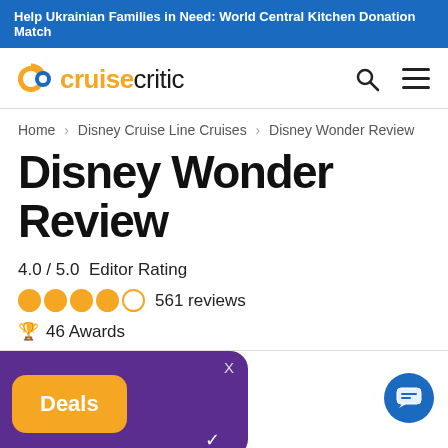Help Ukrainian Families in Need: World Central Kitchen Donation Match
[Figure (logo): Cruise Critic logo with orange C icon and search/menu icons]
Home > Disney Cruise Line Cruises > Disney Wonder Review
Disney Wonder Review
4.0 / 5.0  Editor Rating
4 filled circles, 1 empty circle  561 reviews
🏆 46 Awards
[Figure (screenshot): Popup overlay with purple background showing Deals button in orange and X close button, plus blue chat button in bottom right corner]